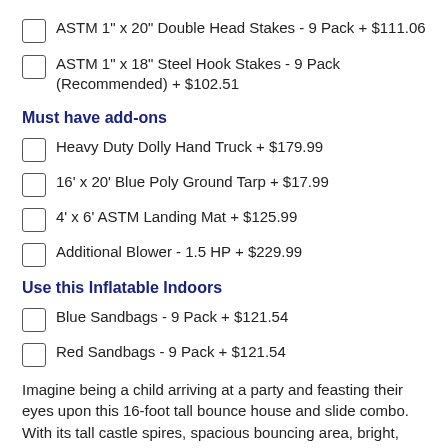ASTM 1" x 20" Double Head Stakes - 9 Pack + $111.06
ASTM 1" x 18" Steel Hook Stakes - 9 Pack (Recommended) + $102.51
Must have add-ons
Heavy Duty Dolly Hand Truck + $179.99
16' x 20' Blue Poly Ground Tarp + $17.99
4' x 6' ASTM Landing Mat + $125.99
Additional Blower - 1.5 HP + $229.99
Use this Inflatable Indoors
Blue Sandbags - 9 Pack + $121.54
Red Sandbags - 9 Pack + $121.54
Imagine being a child arriving at a party and feasting their eyes upon this 16-foot tall bounce house and slide combo. With its tall castle spires, spacious bouncing area, bright, vibrant colors and oh yeah, did we mention there is a slide? That's exactly what you get with this inflatable unit. A unique adaptation of the standard